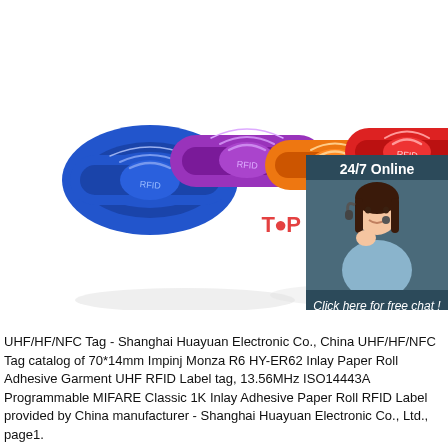[Figure (photo): Four colorful RFID silicone wristbands in blue, purple, orange, and red, each with RFID logo, displayed on white background. Overlaid in bottom-right: a chat widget showing '24/7 Online', a female customer service agent with headset, 'Click here for free chat!' text, and an orange 'QUOTATION' button.]
UHF/HF/NFC Tag - Shanghai Huayuan Electronic Co., Ltd., China UHF/HF/NFC Tag catalog of 70*14mm Impinj Monza R6 HY-ER62 Inlay Paper Roll Adhesive Garment UHF RFID Label tag, 13.56MHz ISO14443A Programmable MIFARE Classic 1K Inlay Adhesive Paper Roll RFID Label provided by China manufacturer - Shanghai Huayuan Electronic Co., Ltd., page1.